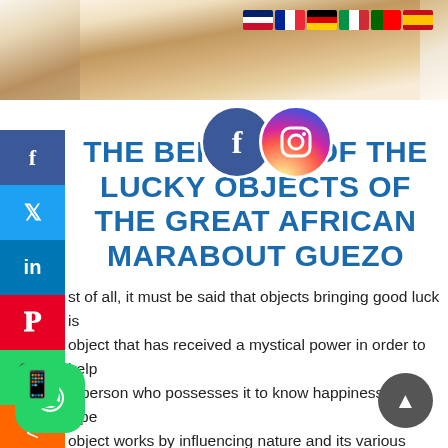[Figure (photo): Lucky cat figurine (Maneki-neko) white with gold and red details against light background, with country flag icons (UK, France, Germany, Italy, Portugal, Spain) in the top right corner]
THE BENEFITS OF THE LUCKY OBJECTS OF THE GREAT AFRICAN MARABOUT GUEZO
First of all, it must be said that objects bringing good luck is an object that has received a mystical power in order to help the person who possesses it to know happiness. This type of object works by influencing nature and its various elements for the benefit of the wearer. That is, when you have a good luck object, everything around you helps you to know happiness hence the name of effective good luck objects.